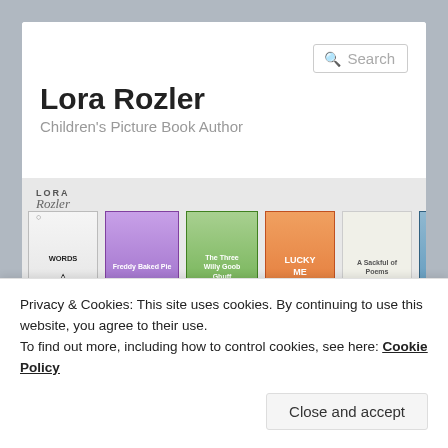[Figure (screenshot): Website header with search box, site title 'Lora Rozler', subtitle 'Children's Picture Book Author', and a banner of book covers]
Lora Rozler
Children's Picture Book Author
[Figure (illustration): Banner showing children's book covers: WORDS, Freddy Baked Pie, The Three Willy Goob Ghuff, Lucky Me, A Sackful of Poems, Bear]
Privacy & Cookies: This site uses cookies. By continuing to use this website, you agree to their use.
To find out more, including how to control cookies, see here: Cookie Policy
Close and accept